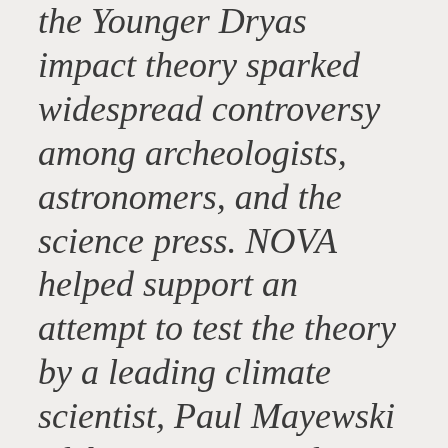the Younger Dryas impact theory sparked widespread controversy among archeologists, astronomers, and the science press. NOVA helped support an attempt to test the theory by a leading climate scientist, Paul Mayewski of the University of Maine, who searched for evidence of distinctive materials associated with impacts in the Greenland ice sheet. As shown in the